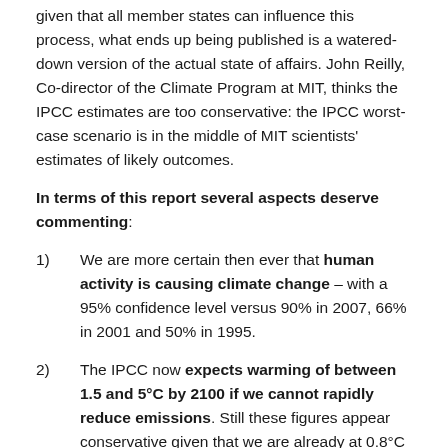given that all member states can influence this process, what ends up being published is a watered-down version of the actual state of affairs. John Reilly, Co-director of the Climate Program at MIT, thinks the IPCC estimates are too conservative: the IPCC worst-case scenario is in the middle of MIT scientists' estimates of likely outcomes.
In terms of this report several aspects deserve commenting:
1) We are more certain then ever that human activity is causing climate change – with a 95% confidence level versus 90% in 2007, 66% in 2001 and 50% in 1995.
2) The IPCC now expects warming of between 1.5 and 5°C by 2100 if we cannot rapidly reduce emissions. Still these figures appear conservative given that we are already at 0.8°C of warming above pre-